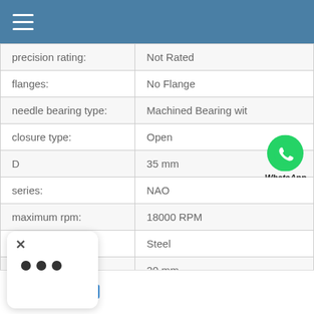Menu / Navigation header bar
| Property | Value |
| --- | --- |
| precision rating: | Not Rated |
| flanges: | No Flange |
| needle bearing type: | Machined Bearing wit |
| closure type: | Open |
| D | 35 mm |
| series: | NAO |
| maximum rpm: | 18000 RPM |
| material: | Steel |
|  | 20 mm |
|  | le |
[Figure (logo): WhatsApp green phone icon with 'WhatsApp Online' text label]
Chat now